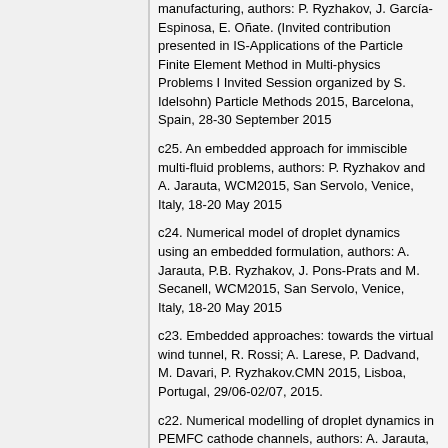manufacturing, authors: P. Ryzhakov, J. García-Espinosa, E. Oñate. (Invited contribution presented in IS-Applications of the Particle Finite Element Method in Multi-physics Problems I Invited Session organized by S. Idelsohn) Particle Methods 2015, Barcelona, Spain, 28-30 September 2015
c25. An embedded approach for immiscible multi-fluid problems, authors: P. Ryzhakov and A. Jarauta, WCM2015, San Servolo, Venice, Italy, 18-20 May 2015
c24. Numerical model of droplet dynamics using an embedded formulation, authors: A. Jarauta, P.B. Ryzhakov, J. Pons-Prats and M. Secanell, WCM2015, San Servolo, Venice, Italy, 18-20 May 2015
c23. Embedded approaches: towards the virtual wind tunnel, R. Rossi; A. Larese, P. Dadvand, M. Davari, P. Ryzhakov.CMN 2015, Lisboa, Portugal, 29/06-02/07, 2015.
c22. Numerical modelling of droplet dynamics in PEMFC cathode channels, authors: A. Jarauta, P.B. Ryzhakov, J. Pons-Prats and M.